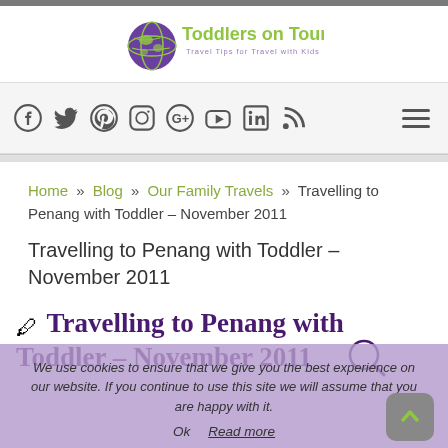[Figure (logo): Toddlers on Tour logo with globe and green/purple text. Tagline: Travel Tips for Travel with Kids]
Social media icons: Facebook, Twitter, Pinterest, Instagram, Google+, YouTube, LinkedIn, RSS
Home » Blog » Our Family Travels » Travelling to Penang with Toddler – November 2011
Travelling to Penang with Toddler – November 2011
✏ Travelling to Penang with Toddler – November 2011
We use cookies to ensure that we give you the best experience on our website. If you continue to use this site we will assume that you are happy with it. Ok  Read more